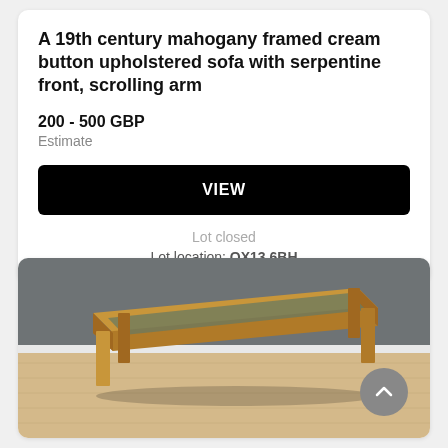A 19th century mahogany framed cream button upholstered sofa with serpentine front, scrolling arm
200 - 500 GBP
Estimate
VIEW
Lot closed
Lot location: OX13 6BH
[Figure (photo): A rectangular glass-top coffee table with wooden legs on a light wood floor, photographed against a grey wall background.]